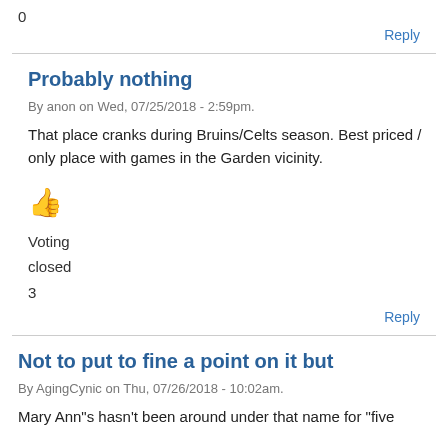0
Reply
Probably nothing
By anon on Wed, 07/25/2018 - 2:59pm.
That place cranks during Bruins/Celts season. Best priced / only place with games in the Garden vicinity.
Voting
closed
3
Reply
Not to put to fine a point on it but
By AgingCynic on Thu, 07/26/2018 - 10:02am.
Mary Ann"s hasn't been around under that name for "five